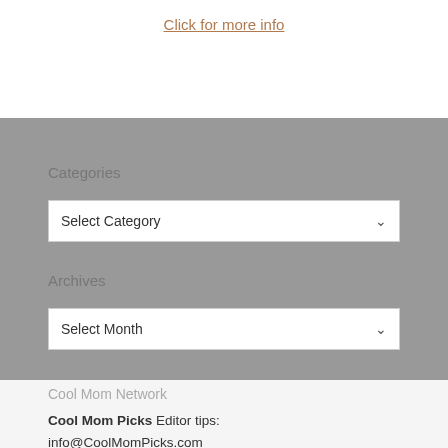Click for more info
Categories
[Figure (screenshot): Select Category dropdown widget]
Archives
[Figure (screenshot): Select Month dropdown widget]
Cool Mom Network
Cool Mom Picks Editor tips:
info@CoolMomPicks.com